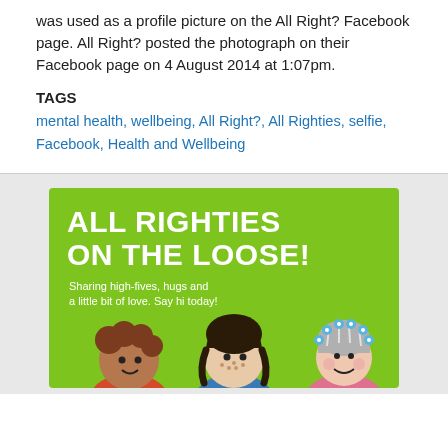was used as a profile picture on the All Right? Facebook page. All Right? posted the photograph on their Facebook page on 4 August 2014 at 1:07pm.
TAGS
mental health, wellbeing, All Right?, All Righties, selfie, Facebook, Health and Wellbeing
[Figure (illustration): Green promotional card with bold white text reading 'ALL RIGHTIES ON THE LOOSE!' with subtitle 'Sharing high-fives, hugs and a little bit of love. Say hi today!' and cartoon character illustrations of three people at the bottom.]